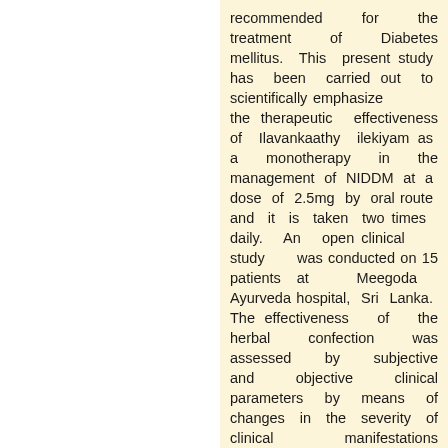recommended for the treatment of Diabetes mellitus. This present study has been carried out to scientifically emphasize the therapeutic effectiveness of Ilavankaathy ilekiyam as a monotherapy in the management of NIDDM at a dose of 2.5mg by oral route and it is taken two times daily. An open clinical study was conducted on 15 patients at Meegoda Ayurveda hospital, Sri Lanka. The effectiveness of the herbal confection was assessed by subjective and objective clinical parameters by means of changes in the severity of clinical manifestations and the fasting blood sugar levels for consecutive 25 weeks using a self-reported assessment criteria. The data was statistically